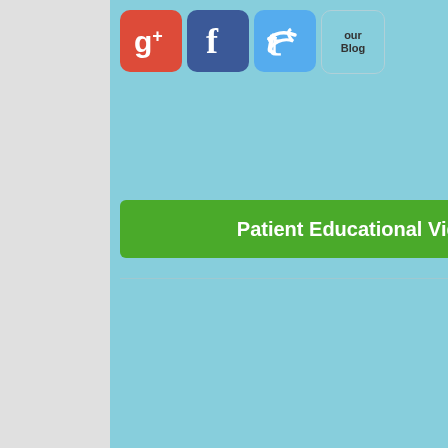[Figure (screenshot): Social media icons: Google+, Facebook, Twitter, Blog buttons arranged horizontally]
[Figure (screenshot): Green button labeled Patient Educational Videos]
no more than a th... task until about th...
Your Child's F...
[Figure (illustration): Age Or... Dental ... cartoon image of a girl with a giraffe character]
decay that can aff... rapidly, progressin... months or less.
Most of all, it's imp... be a regular visito...
Pediatric Dent...
There are a variet...